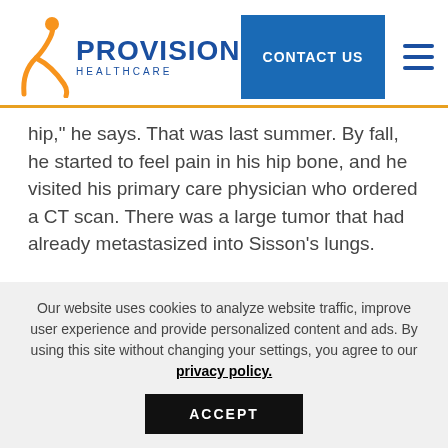[Figure (logo): Provision Healthcare logo with orange figure icon and blue text reading PROVISION HEALTHCARE]
hip," he says. That was last summer. By fall, he started to feel pain in his hip bone, and he visited his primary care physician who ordered a CT scan. There was a large tumor that had already metastasized into Sisson’s lungs.
“Maybe if I’d gone in 3 months sooner…,” he wonders.
Because the tumor was so close to key organs
Our website uses cookies to analyze website traffic, improve user experience and provide personalized content and ads. By using this site without changing your settings, you agree to our privacy policy.